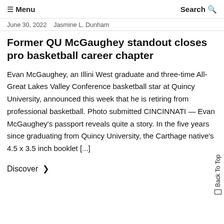☰ Menu   Search 🔍
June 30, 2022   Jasmine L. Dunham
Former QU McGaughey standout closes pro basketball career chapter
Evan McGaughey, an Illini West graduate and three-time All-Great Lakes Valley Conference basketball star at Quincy University, announced this week that he is retiring from professional basketball. Photo submitted CINCINNATI — Evan McGaughey's passport reveals quite a story. In the five years since graduating from Quincy University, the Carthage native's 4.5 x 3.5 inch booklet [...]
Discover  ❯
Back To Top